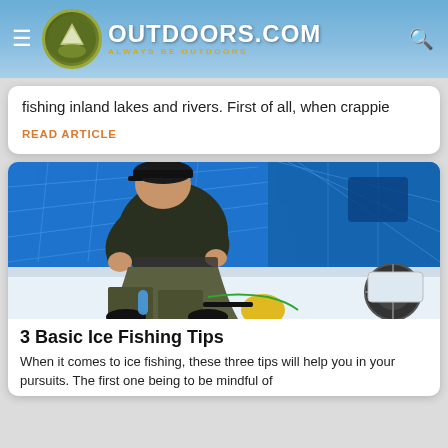OUTDOORS.COM — ALWAYS BE OUTDOORS
fishing inland lakes and rivers. First of all, when crappie
READ ARTICLE
[Figure (photo): A man in a dark sweater and camouflage pants sitting inside a blue ice fishing tent, working on fishing equipment. Various gear items are visible on the ice floor.]
3 Basic Ice Fishing Tips
When it comes to ice fishing, these three tips will help you in your pursuits. The first one being to be mindful of